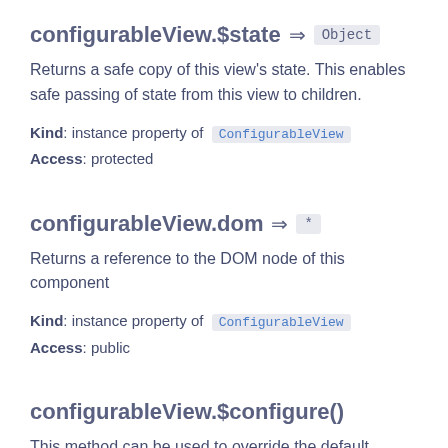configurableView.$state ⇒ Object
Returns a safe copy of this view's state. This enables safe passing of state from this view to children.
Kind: instance property of ConfigurableView
Access: protected
configurableView.dom ⇒ *
Returns a reference to the DOM node of this component
Kind: instance property of ConfigurableView
Access: public
configurableView.$configure()
This method can be used to override the default